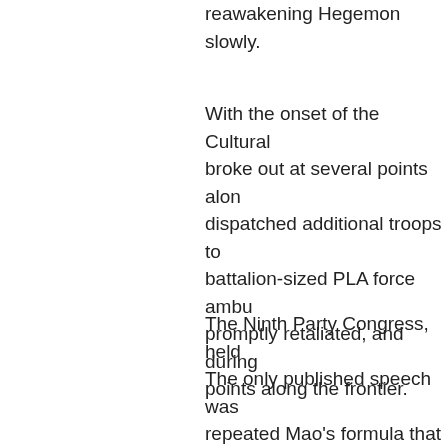reawakening Hegemon slowly.
With the onset of the Cultural broke out at several points alon dispatched additional troops to battalion-sized PLA force ambu promptly retaliated, and during points along the frontier.
The Ninth Party Congress, held The only published speech was repeated Mao's formula that a graves of both revisionism and i also for an atomic war," Lin said.